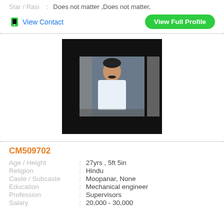Star / Rasi : Does not matter ,Does not matter,
View Contact
View Full Profile
[Figure (photo): Profile photo of a man in white shirt against black background]
CM509702
Age / Height : 27yrs , 5ft 5in
Religion : Hindu
Caste / Subcaste : Moopanar, None
Education : Mechanical engineer
Profession : Supervisors
Salary : 20,000 - 30,000